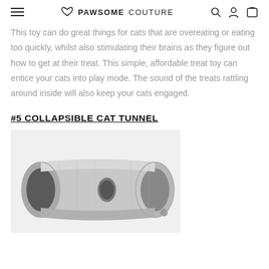PAWSOME COUTURE
This toy can do great things for cats that are overeating or eating too quickly, whilst also stimulating their brains as they figure out how to get at their treat. This simple, affordable treat toy can entice your cats into play mode. The sound of the treats rattling around inside will also keep your cats engaged.
#5 COLLAPSIBLE CAT TUNNEL
[Figure (photo): A grey collapsible cat tunnel toy with holes on the side and a small pom-pom ball at the end, photographed on a white background.]